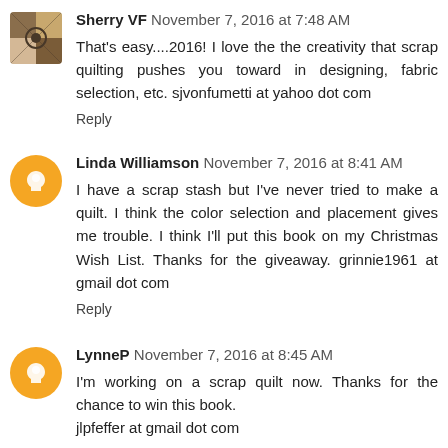Sherry VF November 7, 2016 at 7:48 AM
That's easy....2016! I love the the creativity that scrap quilting pushes you toward in designing, fabric selection, etc. sjvonfumetti at yahoo dot com
Reply
Linda Williamson November 7, 2016 at 8:41 AM
I have a scrap stash but I've never tried to make a quilt. I think the color selection and placement gives me trouble. I think I'll put this book on my Christmas Wish List. Thanks for the giveaway. grinnie1961 at gmail dot com
Reply
LynneP November 7, 2016 at 8:45 AM
I'm working on a scrap quilt now. Thanks for the chance to win this book.
jlpfeffer at gmail dot com
Reply